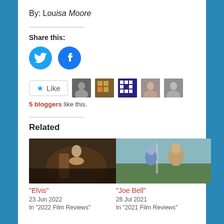By: Louisa Moore
Share this:
[Figure (infographic): Twitter and Facebook circular share buttons in blue]
[Figure (infographic): Like button with star icon and 5 blogger avatar thumbnails]
5 bloggers like this.
Related
[Figure (photo): Movie still from Elvis - person playing guitar on stage]
"Elvis"
23 Jun 2022
In "2022 Film Reviews"
[Figure (photo): Movie still from Joe Bell - man walking on road with hat]
"Joe Bell"
26 Jul 2021
In "2021 Film Reviews"